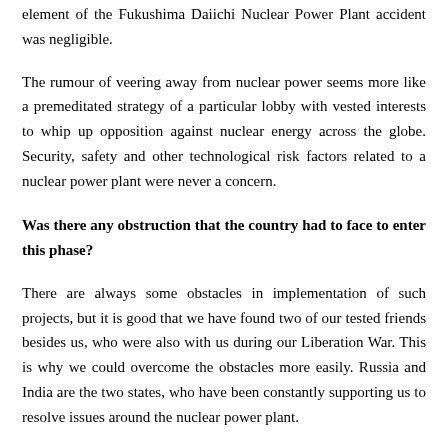element of the Fukushima Daiichi Nuclear Power Plant accident was negligible.
The rumour of veering away from nuclear power seems more like a premeditated strategy of a particular lobby with vested interests to whip up opposition against nuclear energy across the globe. Security, safety and other technological risk factors related to a nuclear power plant were never a concern.
Was there any obstruction that the country had to face to enter this phase?
There are always some obstacles in implementation of such projects, but it is good that we have found two of our tested friends besides us, who were also with us during our Liberation War. This is why we could overcome the obstacles more easily. Russia and India are the two states, who have been constantly supporting us to resolve issues around the nuclear power plant.